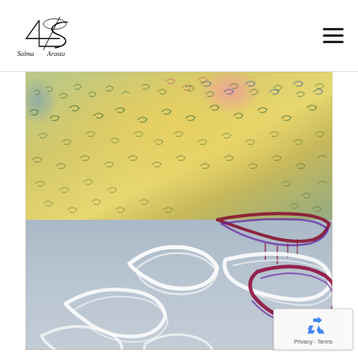Salma Arastu
[Figure (illustration): Abstract calligraphic artwork by Salma Arastu featuring Arabic calligraphy over a colorful background with greens, yellows, blues, pinks. The lower portion has bold flowing white and red-maroon calligraphic strokes on a misty blue-grey background.]
[Figure (other): reCAPTCHA privacy badge with blue recycling arrows icon, showing Privacy - Terms text]